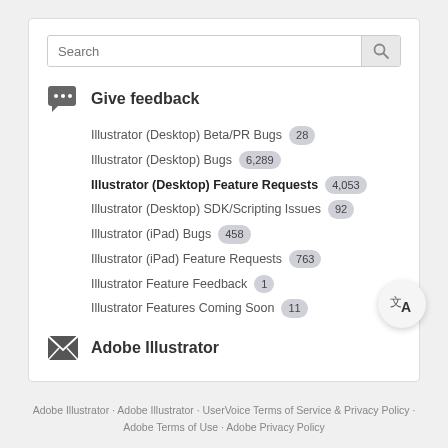[Figure (screenshot): Search bar with placeholder text 'Search' and a magnifying glass icon button]
Give feedback
Illustrator (Desktop) Beta/PR Bugs  28
Illustrator (Desktop) Bugs  6,289
Illustrator (Desktop) Feature Requests  4,053
Illustrator (Desktop) SDK/Scripting Issues  92
Illustrator (iPad) Bugs  458
Illustrator (iPad) Feature Requests  763
Illustrator Feature Feedback  1
Illustrator Features Coming Soon  11
Adobe Illustrator
Adobe Illustrator · Adobe Illustrator · UserVoice Terms of Service & Privacy Policy · Adobe Terms of Use · Adobe Privacy Policy